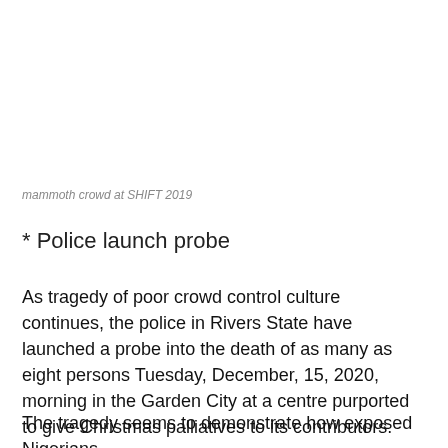mammoth crowd at SHIFT 2019
* Police launch probe
As tragedy of poor crowd control culture continues, the police in Rivers State have launched a probe into the death of as many as eight persons Tuesday, December, 15, 2020, morning in the Garden City at a centre purported to give Christmas palliatives to its contributors.
The tragedy seems to demonstrate how exposed Nigerians